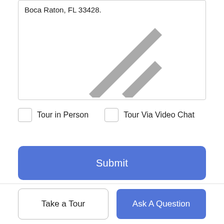Boca Raton, FL 33428.
Tour in Person
Tour Via Video Chat
Submit
Disclaimer: By entering your information and submitting this form, you agree to our Terms of Use and Privacy Policy and that you may be contacted by phone, text message and email about your inquiry.
Take a Tour
Ask A Question